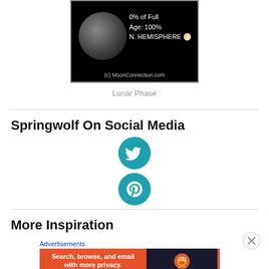[Figure (photo): Moon phase image showing full moon with text overlays: '0% of Full', 'Age: 100%', 'N. HEMISPHERE' and copyright '(c)MoonConnection.com' on black background]
Lunar Phase
Springwolf On Social Media
[Figure (logo): Twitter (teal circle with white bird icon) and Pinterest (teal circle with white P icon) social media buttons]
More Inspiration
Advertisements
[Figure (screenshot): DuckDuckGo advertisement banner: 'Search, browse, and email with more privacy. All in One Free App' with DuckDuckGo duck logo on dark background]